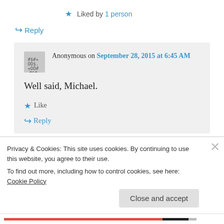★ Liked by 1 person
↪ Reply
Anonymous on September 28, 2015 at 6:45 AM
Well said, Michael.
★ Like
↪ Reply
Privacy & Cookies: This site uses cookies. By continuing to use this website, you agree to their use.
To find out more, including how to control cookies, see here: Cookie Policy
Close and accept